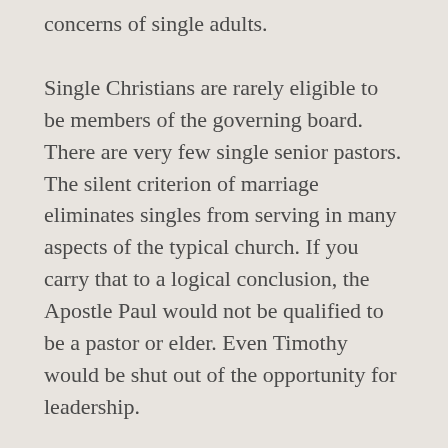concerns of single adults.
Single Christians are rarely eligible to be members of the governing board. There are very few single senior pastors. The silent criterion of marriage eliminates singles from serving in many aspects of the typical church. If you carry that to a logical conclusion, the Apostle Paul would not be qualified to be a pastor or elder. Even Timothy would be shut out of the opportunity for leadership.
After four years as an assistant pastor, I wanted to become a senior pastor. I had a total of fifteen years experience in the ministry and two Master's degrees. However,